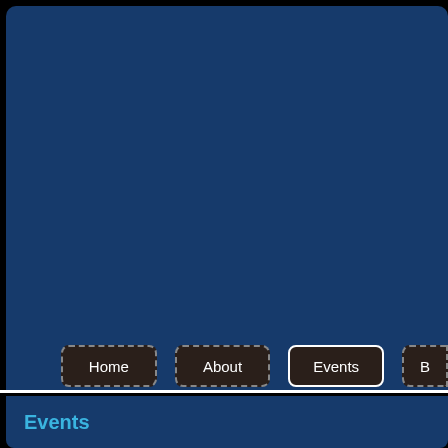Navigation: Home | About | Events | B...
Events
Below you will find a schedule of our upcoming events.
If you would like to attend one of our events, firstly please ensure that y... terms.
All events have a "Print & Post Booking Form" option. However, some a... Booking Form option that allows you to complete your form online (you... choose one of these options).